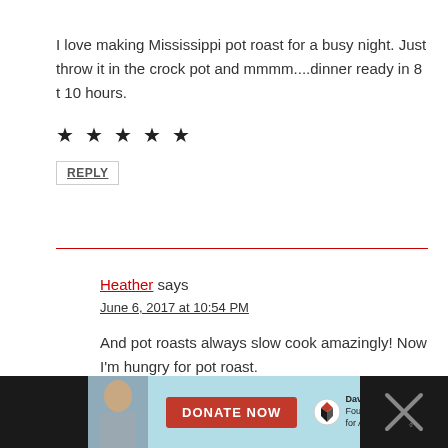I love making Mississippi pot roast for a busy night. Just throw it in the crock pot and mmmm....dinner ready in 8 t 10 hours.
★ ★ ★ ★ ★
REPLY
Heather says
June 6, 2017 at 10:54 PM
And pot roasts always slow cook amazingly! Now I'm hungry for pot roast.
REPLY
[Figure (infographic): Advertisement banner with a boy, DONATE NOW red button, Dave Thomas Foundation for Adoption logo, and close button on dark background]